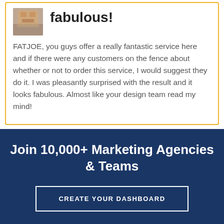[Figure (photo): Small profile photo of a person, partially pixelated]
fabulous!
FATJOE, you guys offer a really fantastic service here and if there were any customers on the fence about whether or not to order this service, I would suggest they do it. I was pleasantly surprised with the result and it looks fabulous. Almost like your design team read my mind!
Join 10,000+ Marketing Agencies & Teams
CREATE YOUR DASHBOARD